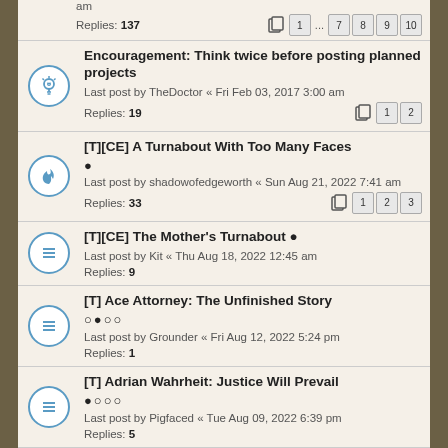am
Replies: 137  1 ... 7 8 9 10
Encouragement: Think twice before posting planned projects
Last post by TheDoctor « Fri Feb 03, 2017 3:00 am
Replies: 19  1 2
[T][CE] A Turnabout With Too Many Faces
Last post by shadowofedgeworth « Sun Aug 21, 2022 7:41 am
Replies: 33  1 2 3
[T][CE] The Mother's Turnabout •
Last post by Kit « Thu Aug 18, 2022 12:45 am
Replies: 9
[T] Ace Attorney: The Unfinished Story
Last post by Grounder « Fri Aug 12, 2022 5:24 pm
Replies: 1
[T] Adrian Wahrheit: Justice Will Prevail
Last post by Pigfaced « Tue Aug 09, 2022 6:39 pm
Replies: 5
[T] Last Chance for Turnabout ○